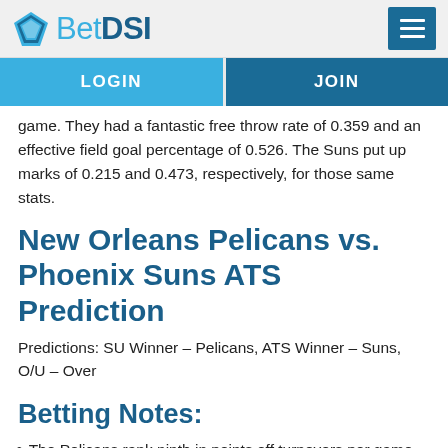BetDSI
game. They had a fantastic free throw rate of 0.359 and an effective field goal percentage of 0.526. The Suns put up marks of 0.215 and 0.473, respectively, for those same stats.
New Orleans Pelicans vs. Phoenix Suns ATS Prediction
Predictions: SU Winner – Pelicans, ATS Winner – Suns, O/U – Over
Betting Notes:
The Pelicans rank ninth in points off turnovers per game